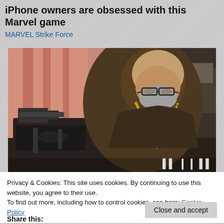iPhone owners are obsessed with this Marvel game
MARVEL Strike Force
[Figure (photo): Elderly bearded man wearing glasses and a measuring tape around his neck, leaning over an industrial sewing machine in a workshop setting with pink curtains in background]
Privacy & Cookies: This site uses cookies. By continuing to use this website, you agree to their use.
To find out more, including how to control cookies, see here: Cookie Policy
Close and accept
Share this: